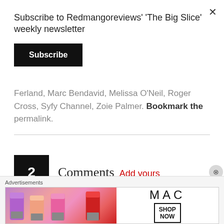Subscribe to Redmangoreviews' 'The Big Slice' weekly newsletter
Subscribe
Ferland, Marc Bendavid, Melissa O'Neil, Roger Cross, Syfy Channel, Zoie Palmer. Bookmark the permalink.
2 Comments Add yours
[Figure (other): MAC cosmetics advertisement banner showing lipsticks with SHOP NOW button]
Advertisements